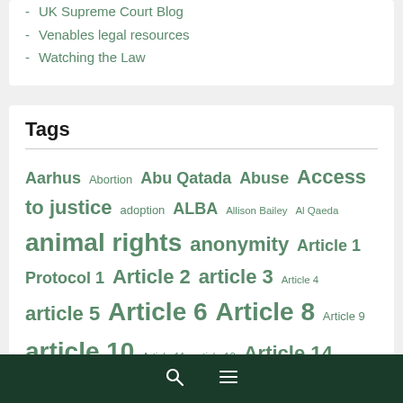UK Supreme Court Blog
Venables legal resources
Watching the Law
Tags
Aarhus Abortion Abu Qatada Abuse Access to justice adoption ALBA Allison Bailey Al Qaeda animal rights anonymity Article 1 Protocol 1 Article 2 article 3 Article 4 article 5 Article 6 Article 8 Article 9 article 10 Article 11 article 13 Article 14 Artificial Intelligence Asbestos assisted suicide